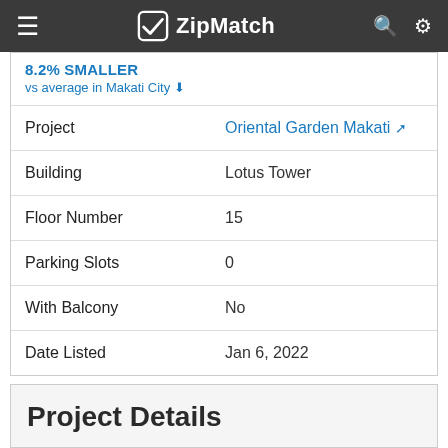ZipMatch
8.2% SMALLER
vs average in Makati City ↓
| Field | Value |
| --- | --- |
| Project | Oriental Garden Makati ↗ |
| Building | Lotus Tower |
| Floor Number | 15 |
| Parking Slots | 0 |
| With Balcony | No |
| Date Listed | Jan 6, 2022 |
Project Details